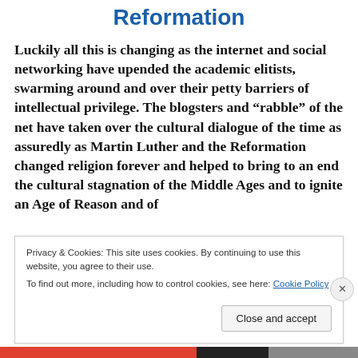Reformation
Luckily all this is changing as the internet and social networking have upended the academic elitists, swarming around and over their petty barriers of intellectual privilege. The blogsters and “rabble” of the net have taken over the cultural dialogue of the time as assuredly as Martin Luther and the Reformation changed religion forever and helped to bring to an end the cultural stagnation of the Middle Ages and to ignite an Age of Reason and of
Privacy & Cookies: This site uses cookies. By continuing to use this website, you agree to their use.
To find out more, including how to control cookies, see here: Cookie Policy
Close and accept